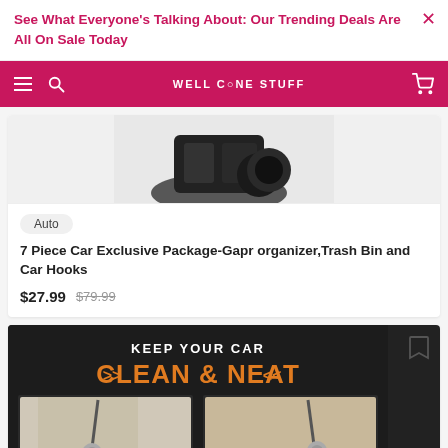See What Everyone's Talking About: Our Trending Deals Are All On Sale Today
[Figure (screenshot): Navigation bar with hamburger menu, search icon, WELL DONE STUFF brand name, and cart icon on pink/red background]
[Figure (photo): Product image of car organizer package (partially visible, black items)]
Auto
7 Piece Car Exclusive Package-Gapr organizer,Trash Bin and Car Hooks
$27.99  $79.99
[Figure (photo): Product promotional image with dark background showing 'KEEP YOUR CAR CLEAN & NEAT' text in orange/white, with two car vacuum cleaner images below]